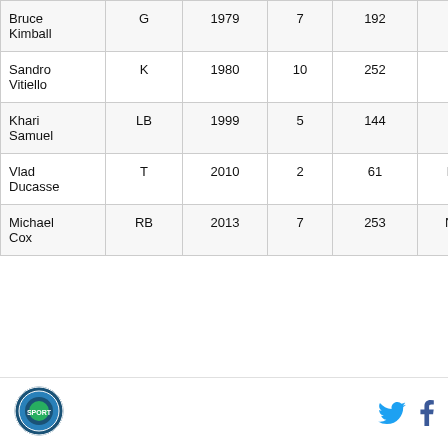| Bruce Kimball | G | 1979 | 7 | 192 | PIT |
| Sandro Vitiello | K | 1980 | 10 | 252 | CIN |
| Khari Samuel | LB | 1999 | 5 | 144 | CHI |
| Vlad Ducasse | T | 2010 | 2 | 61 | NYJ |
| Michael Cox | RB | 2013 | 7 | 253 | NYG |
[Figure (logo): Circular sports team logo in bottom-left footer]